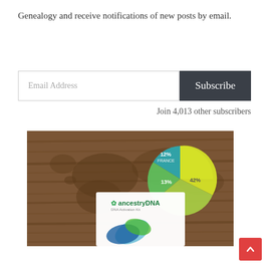Genealogy and receive notifications of new posts by email.
Email Address
Subscribe
Join 4,013 other subscribers
[Figure (photo): AncestryDNA product box displayed on a wooden table background with a pie chart showing 12% France, 13%, and 42% segments overlaid on a world map graphic.]